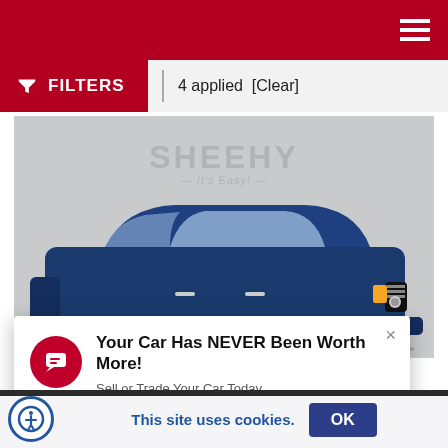Sheehy auto dealer website header with hamburger menu
FILTERS  4 applied  [Clear]
[Figure (photo): Blue Nissan SUV (crossover/Rogue) parked indoors against a gray backdrop with Sheehy 'It's Easy!' watermark logo]
Your Car Has NEVER Been Worth More! Sell or Trade Your Car Today.
This site uses cookies.  OK